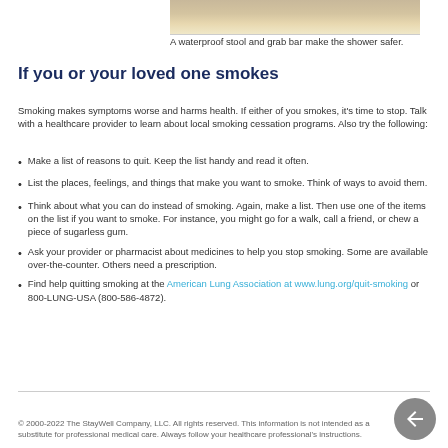[Figure (photo): Top portion of a photo showing a waterproof stool and grab bar in a shower]
A waterproof stool and grab bar make the shower safer.
If you or your loved one smokes
Smoking makes symptoms worse and harms health. If either of you smokes, it's time to stop. Talk with a healthcare provider to learn about local smoking cessation programs. Also try the following:
Make a list of reasons to quit. Keep the list handy and read it often.
List the places, feelings, and things that make you want to smoke. Think of ways to avoid them.
Think about what you can do instead of smoking. Again, make a list. Then use one of the items on the list if you want to smoke. For instance, you might go for a walk, call a friend, or chew a piece of sugarless gum.
Ask your provider or pharmacist about medicines to help you stop smoking. Some are available over-the-counter. Others need a prescription.
Find help quitting smoking at the American Lung Association at www.lung.org/quit-smoking or 800-LUNG-USA (800-586-4872).
© 2000-2022 The StayWell Company, LLC. All rights reserved. This information is not intended as a substitute for professional medical care. Always follow your healthcare professional's instructions.